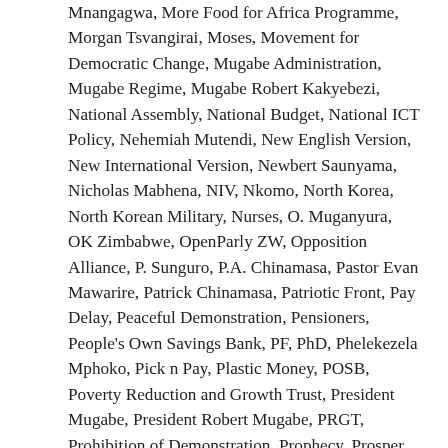Mnangagwa, More Food for Africa Programme, Morgan Tsvangirai, Moses, Movement for Democratic Change, Mugabe Administration, Mugabe Regime, Mugabe Robert Kakyebezi, National Assembly, National Budget, National ICT Policy, Nehemiah Mutendi, New English Version, New International Version, Newbert Saunyama, Nicholas Mabhena, NIV, Nkomo, North Korea, North Korean Military, Nurses, O. Muganyura, OK Zimbabwe, OpenParly ZW, Opposition Alliance, P. Sunguro, P.A. Chinamasa, Pastor Evan Mawarire, Patrick Chinamasa, Patriotic Front, Pay Delay, Peaceful Demonstration, Pensioners, People's Own Savings Bank, PF, PhD, Phelekezela Mphoko, Pick n Pay, Plastic Money, POSB, Poverty Reduction and Growth Trust, President Mugabe, President Robert Mugabe, PRGT, Prohibition of Demonstration, Prophecy, Prosper Chitambara, Psalms 21, Public Service, Public Service Commission, Public Service Pay Dates, RBZ, Rema, Republic of Zimbabwe, Reserve Bank of Zimbabwe, Rest of Service, Robert Mugabe, SADC, Salaries, Sanctions, Self-Cencorship, Simba Chikore, Simukayi Mutamangira, Social Media, Social Security, South Africa, Star FM